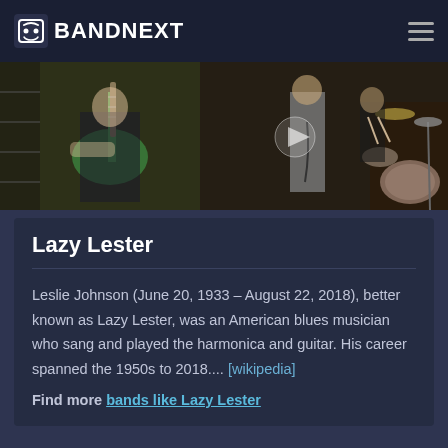BANDNEXT
[Figure (photo): Band performing: guitarist with green electric guitar on left, person standing in center, drummer with drum kit on right, in what appears to be a record store or rehearsal space]
Lazy Lester
Leslie Johnson (June 20, 1933 – August 22, 2018), better known as Lazy Lester, was an American blues musician who sang and played the harmonica and guitar. His career spanned the 1950s to 2018.... [wikipedia]
Find more bands like Lazy Lester